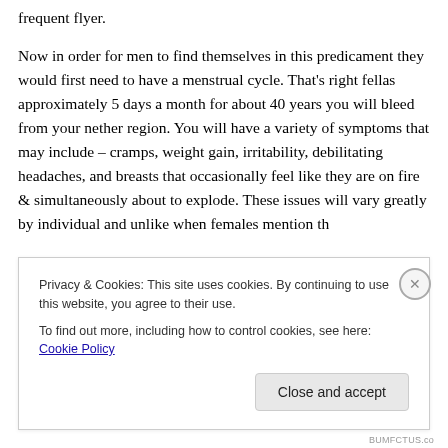frequent flyer.

Now in order for men to find themselves in this predicament they would first need to have a menstrual cycle. That's right fellas approximately 5 days a month for about 40 years you will bleed from your nether region. You will have a variety of symptoms that may include – cramps, weight gain, irritability, debilitating headaches, and breasts that occasionally feel like they are on fire & simultaneously about to explode. These issues will vary greatly by individual and unlike when females mention th...
Privacy & Cookies: This site uses cookies. By continuing to use this website, you agree to their use.
To find out more, including how to control cookies, see here: Cookie Policy
Close and accept
BUMFCTUS.co